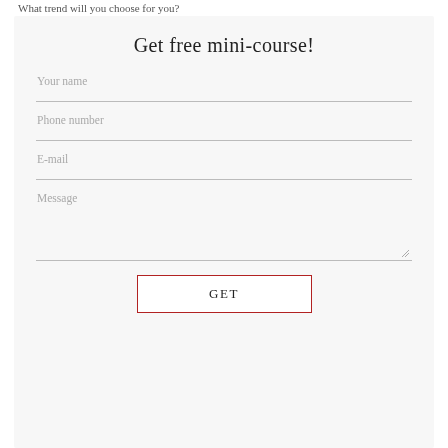What trend will you choose for you?
Get free mini-course!
Your name
Phone number
E-mail
Message
GET